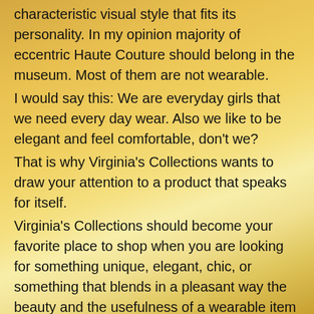characteristic visual style that fits its personality. In my opinion majority of eccentric Haute Couture should belong in the museum. Most of them are not wearable. I would say this: We are everyday girls that we need every day wear. Also we like to be elegant and feel comfortable, don't we? That is why Virginia's Collections wants to draw your attention to a product that speaks for itself. Virginia's Collections should become your favorite place to shop when you are looking for something unique, elegant, chic, or something that blends in a pleasant way the beauty and the usefulness of a wearable item such as these unique, gorgeous, elegant, fancy and comfortable pair of socks. I suggest you to buy a pair of socks, wear it, visit a